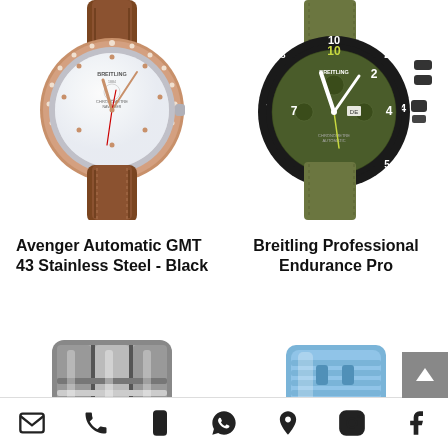[Figure (photo): Breitling Avenger Automatic GMT 43 Stainless Steel Black watch with white mother-of-pearl dial, rose gold bezel with diamonds, and brown crocodile leather strap]
[Figure (photo): Breitling Professional Endurance Pro watch with green/olive chronograph dial, black bezel with numerals, and olive green textile/canvas strap]
Avenger Automatic GMT 43 Stainless Steel - Black
Breitling Professional Endurance Pro
[Figure (photo): Partial view of a metallic watch bracelet/band in silver stainless steel]
[Figure (photo): Partial view of a blue rubber/silicone watch strap or accessory]